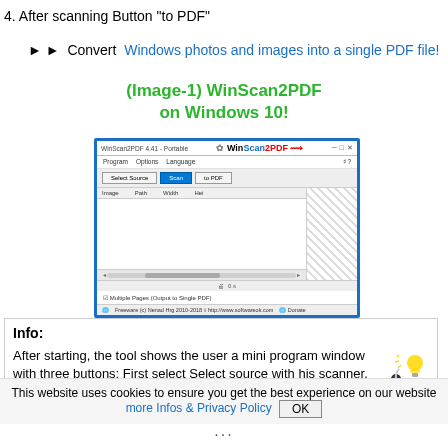4. After scanning Button "to PDF"
►► Convert  Windows photos and images into a single PDF file!
(Image-1) WinScan2PDF on Windows 10!
[Figure (screenshot): WinScan2PDF 4.41 Portable application window on Windows 10 showing Select Source, Scan, and to PDF buttons with an image list area and preview panel]
Info:
After starting, the tool shows the user a mini program window with three buttons: First select Select source with his scanner. Click
This website uses cookies to ensure you get the best experience on our website more Infos & Privacy Policy  OK